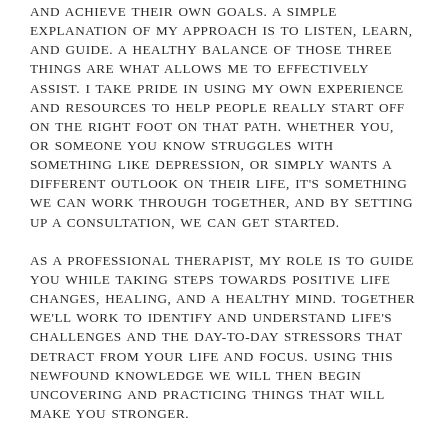AND ACHIEVE THEIR OWN GOALS. A SIMPLE EXPLANATION OF MY APPROACH IS TO LISTEN, LEARN, AND GUIDE. A HEALTHY BALANCE OF THOSE THREE THINGS ARE WHAT ALLOWS ME TO EFFECTIVELY ASSIST. I TAKE PRIDE IN USING MY OWN EXPERIENCE AND RESOURCES TO HELP PEOPLE REALLY START OFF ON THE RIGHT FOOT ON THAT PATH. WHETHER YOU, OR SOMEONE YOU KNOW STRUGGLES WITH SOMETHING LIKE DEPRESSION, OR SIMPLY WANTS A DIFFERENT OUTLOOK ON THEIR LIFE, IT'S SOMETHING WE CAN WORK THROUGH TOGETHER, AND BY SETTING UP A CONSULTATION, WE CAN GET STARTED.
AS A PROFESSIONAL THERAPIST, MY ROLE IS TO GUIDE YOU WHILE TAKING STEPS TOWARDS POSITIVE LIFE CHANGES, HEALING, AND A HEALTHY MIND. TOGETHER WE'LL WORK TO IDENTIFY AND UNDERSTAND LIFE'S CHALLENGES AND THE DAY-TO-DAY STRESSORS THAT DETRACT FROM YOUR LIFE AND FOCUS. USING THIS NEWFOUND KNOWLEDGE WE WILL THEN BEGIN UNCOVERING AND PRACTICING THINGS THAT WILL MAKE YOU STRONGER.